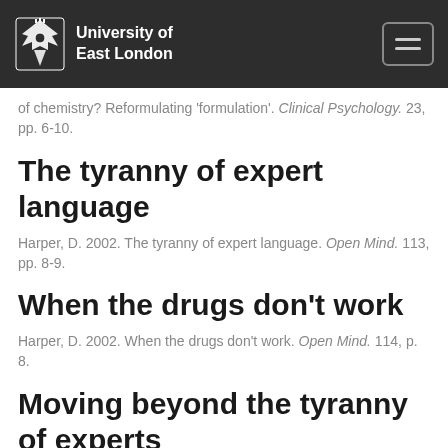University of East London
of chemistry? Reformulating 'formulation'. Clinical Psychology. 23, pp. 6-10.
The tyranny of expert language
Harper, D. 2002. The tyranny of expert language. Open Mind. 113, pp. 8-9.
When the drugs don't work
Harper, D. 2002. When the drugs don't work. Open Mind. 114, p. 8.
Moving beyond the tyranny of experts